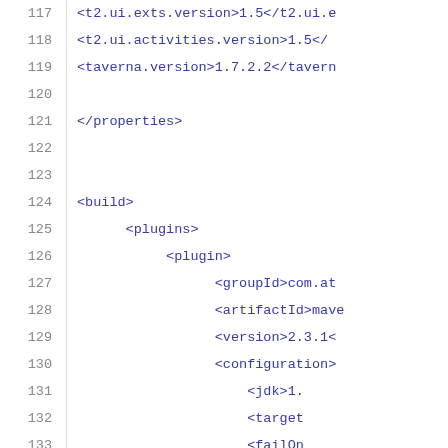117   <t2.ui.exts.version>1.5</t2.ui.e
118   <t2.ui.activities.version>1.5</
119   <taverna.version>1.7.2.2</tavern
120
121   </properties>
122
123
124   <build>
125       <plugins>
126           <plugin>
127               <groupId>com.at
128               <artifactId>mave
129               <version>2.3.1<
130               <configuration>
131                   <jdk>1.
132                   <target
133                   <failOn
134               </configuration>
135               <executions>
136                   <execut
137